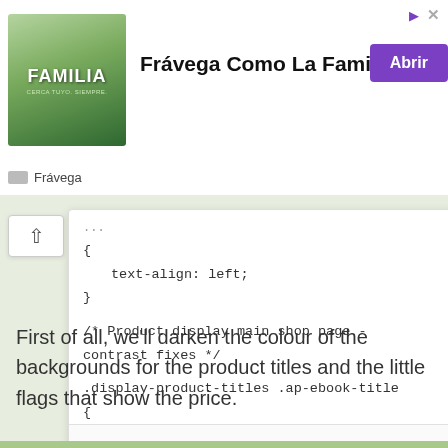[Figure (screenshot): Advertisement banner for Frávega Como La Familia with photo of people and purple 'Abrir' button]
[Figure (screenshot): Code editor popup showing CSS code with text-align: left, Product display main shop page comment, and .display-product-titles .ap-ebook-title selector, with Restore store page design link at bottom]
First of all, we'll darken the colour of the backgrounds for the product titles and the little flags that show the price.